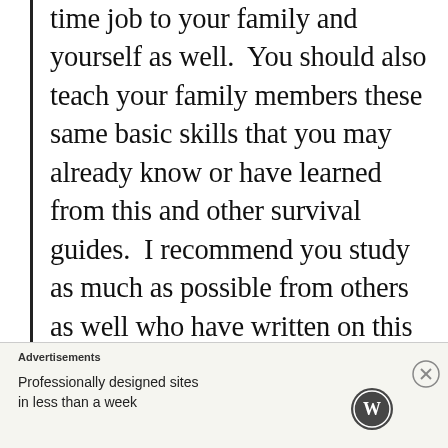time job to your family and yourself as well.  You should also teach your family members these same basic skills that you may already know or have learned from this and other survival guides.  I recommend you study as much as possible from others as well who have written on this subject.  Not one of us hold all of the knowledge and skills that are vital.  Each and
Advertisements
Professionally designed sites in less than a week